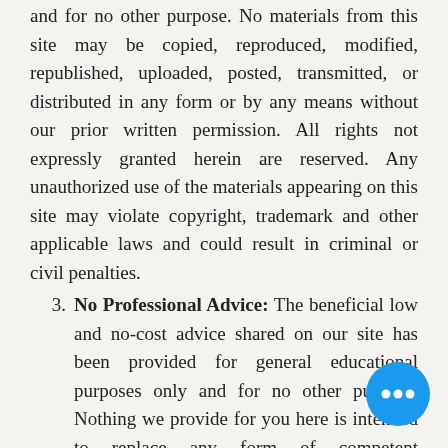and for no other purpose. No materials from this site may be copied, reproduced, modified, republished, uploaded, posted, transmitted, or distributed in any form or by any means without our prior written permission. All rights not expressly granted herein are reserved. Any unauthorized use of the materials appearing on this site may violate copyright, trademark and other applicable laws and could result in criminal or civil penalties.
No Professional Advice: The beneficial low and no-cost advice shared on our site has been provided for general educational purposes only and for no other purpose. Nothing we provide for you here is intended to replace any form of competent professional advice. If you are in need of professional advice, including medical, mental health, legal, accounting or tax advice, or any